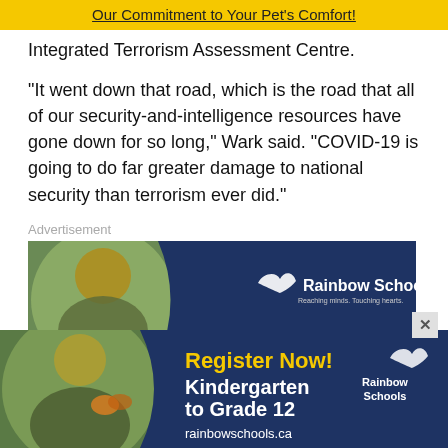Our Commitment to Your Pet's Comfort!
Integrated Terrorism Assessment Centre.
"It went down that road, which is the road that all of our security-and-intelligence resources have gone down for so long," Wark said. "COVID-19 is going to do far greater damage to national security than terrorism ever did."
Advertisement
[Figure (photo): Rainbow Schools advertisement banner showing a smiling child with the Rainbow Schools logo on a dark blue background]
[Figure (photo): Rainbow Schools advertisement banner at bottom showing a smiling child holding a butterfly, with text 'Register Now! Kindergarten to Grade 12 rainbowschools.ca' and Rainbow Schools logo on dark blue background]